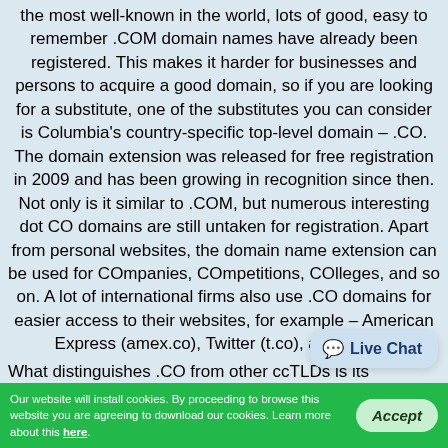the most well-known in the world, lots of good, easy to remember .COM domain names have already been registered. This makes it harder for businesses and persons to acquire a good domain, so if you are looking for a substitute, one of the substitutes you can consider is Columbia's country-specific top-level domain – .CO. The domain extension was released for free registration in 2009 and has been growing in recognition since then. Not only is it similar to .COM, but numerous interesting dot CO domains are still untaken for registration. Apart from personal websites, the domain name extension can be used for COmpanies, COmpetitions, COlleges, and so on. A lot of international firms also use .CO domains for easier access to their websites, for example – American Express (amex.co), Twitter (t.co), and others.
What distinguishes .CO from other ccTLDs is its international
Our website will install cookies. By proceeding to browse this website you are agreeing to download our cookies. Learn more about this here.